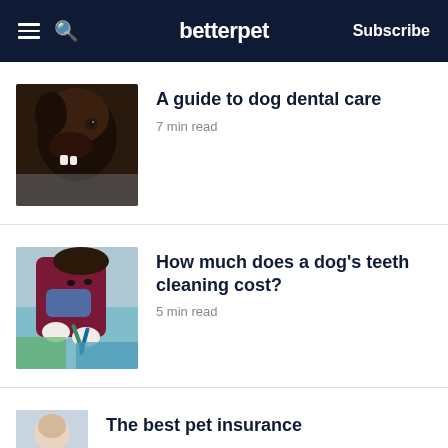betterpet | Subscribe
[Figure (photo): Close-up photo of a dark brown dog with visible teeth, looking up at the camera]
A guide to dog dental care
7 min read
[Figure (photo): A veterinarian or dental professional in a burgundy/maroon top and mask, performing a dental cleaning procedure, surrounded by dental tools in blue and green colors]
How much does a dog's teeth cleaning cost?
5 min read
[Figure (photo): Partial photo of a person, likely a vet or insurance-related image, cut off at bottom of page]
The best pet insurance